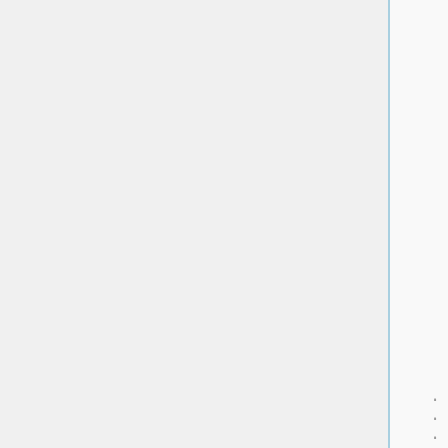[Figure (screenshot): Source code editor showing C++ code for IMGArchive class. The code shows a partially visible function using fopen_s, file reading operations with fread, a for loop with DirEntry processing, fclose call, and the beginning of IMGArchive::getFileCount function returning archiveFileEntr.]